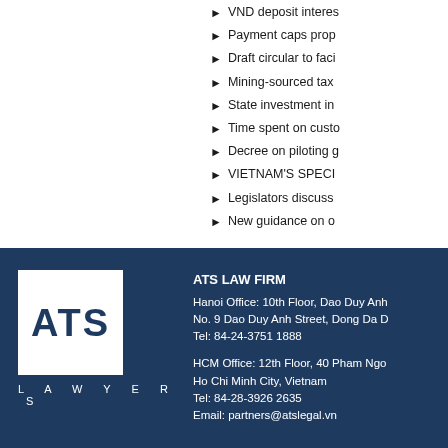VND deposit interes...
Payment caps prop...
Draft circular to faci...
Mining-sourced tax...
State investment in...
Time spent on custo...
Decree on piloting g...
VIETNAM'S SPECI...
Legislators discuss...
New guidance on o...
[Figure (logo): ATS Lawyers logo — white box with dark blue ATS text, LAWYERS text below in white on dark blue background]
ATS LAW FIRM
Hanoi Office: 10th Floor, Dao Duy Anh...
No. 9 Dao Duy Anh Street, Dong Da D...
Tel: 84-24-3751 1888

HCM Office: 12th Floor, 40 Pham Ngo...
Ho Chi Minh City, Vietnam
Tel: 84-28-3926 2635
Email: partners@atslegal.vn